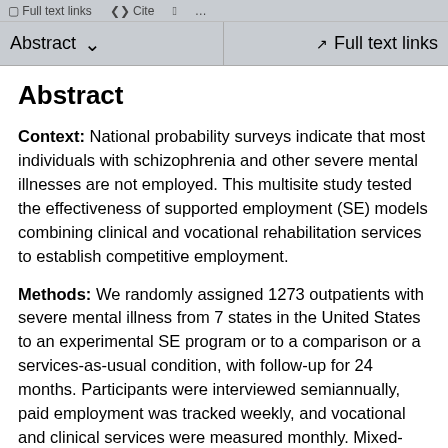Abstract  ∨   Full text links
Abstract
Context: National probability surveys indicate that most individuals with schizophrenia and other severe mental illnesses are not employed. This multisite study tested the effectiveness of supported employment (SE) models combining clinical and vocational rehabilitation services to establish competitive employment.
Methods: We randomly assigned 1273 outpatients with severe mental illness from 7 states in the United States to an experimental SE program or to a comparison or a services-as-usual condition, with follow-up for 24 months. Participants were interviewed semiannually, paid employment was tracked weekly, and vocational and clinical services were measured monthly. Mixed-effects random regression analysis was used to predict the likelihood of competitive employment, working 40 or more